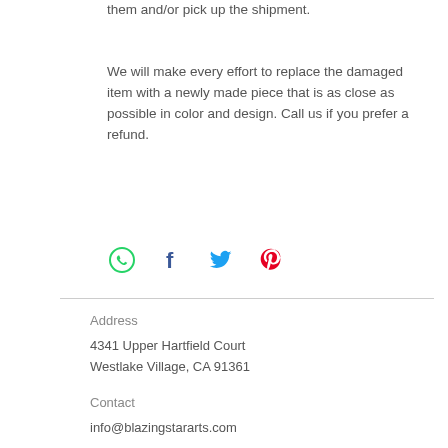them and/or pick up the shipment.
We will make every effort to replace the damaged item with a newly made piece that is as close as possible in color and design. Call us if you prefer a refund.
[Figure (infographic): Social media share icons: WhatsApp (green), Facebook (dark blue), Twitter (blue), Pinterest (red)]
Address
4341 Upper Hartfield Court
Westlake Village, CA 91361
Contact
info@blazingstararts.com